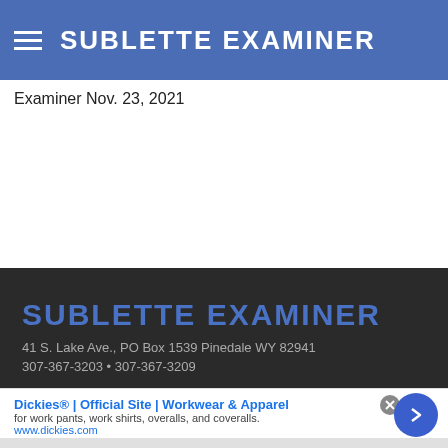SUBLETTE EXAMINER
Examiner Nov. 23, 2021
SUBLETTE EXAMINER
41 S. Lake Ave., PO Box 1539 Pinedale WY 82941
307-367-3203 • 307-367-3209
Dickies® | Official Site | Workwear & Apparel
for work pants, work shirts, overalls, and coveralls.
www.dickies.com